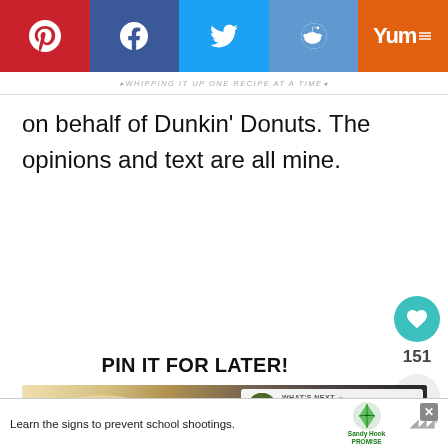Social share bar: Pinterest, Facebook, Twitter, Reddit, Yummly
WHIPPING IT UP ONE RECIPE AT A TIME
on behalf of Dunkin' Donuts. The opinions and text are all mine.
PIN IT FOR LATER!
[Figure (photo): Close-up photo of pastries with whipped cream and chocolate]
WHAT'S NEXT → Baileys Chocolate...
Learn the signs to prevent school shootings. Sandy Hook Promise